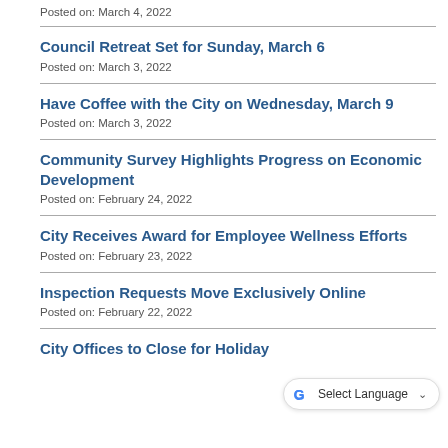Posted on: March 4, 2022
Council Retreat Set for Sunday, March 6
Posted on: March 3, 2022
Have Coffee with the City on Wednesday, March 9
Posted on: March 3, 2022
Community Survey Highlights Progress on Economic Development
Posted on: February 24, 2022
City Receives Award for Employee Wellness Efforts
Posted on: February 23, 2022
Inspection Requests Move Exclusively Online
Posted on: February 22, 2022
City Offices to Close for Holiday